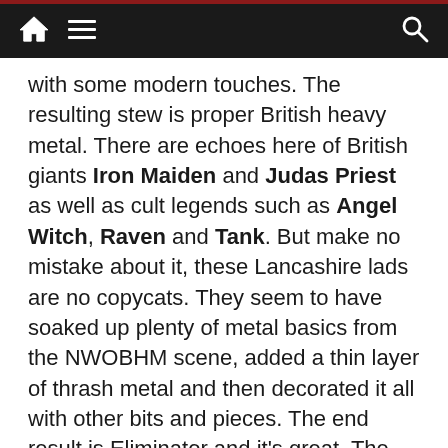Navigation bar with home, menu, and search icons
with some modern touches. The resulting stew is proper British heavy metal. There are echoes here of British giants Iron Maiden and Judas Priest as well as cult legends such as Angel Witch, Raven and Tank. But make no mistake about it, these Lancashire lads are no copycats. They seem to have soaked up plenty of metal basics from the NWOBHM scene, added a thin layer of thrash metal and then decorated it all with other bits and pieces. The end result is Eliminator and it’s great. The band released an EP called “We Rule the Night” a decade ago. Since then, there have been a few line-up changes and